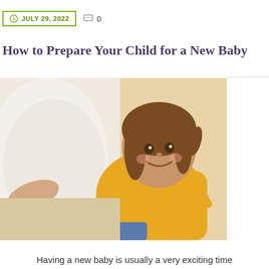JULY 29, 2022   0
How to Prepare Your Child for a New Baby
[Figure (photo): A young smiling girl in a yellow top hugging a pregnant woman's belly, warm indoor background]
Having a new baby is usually a very exciting time